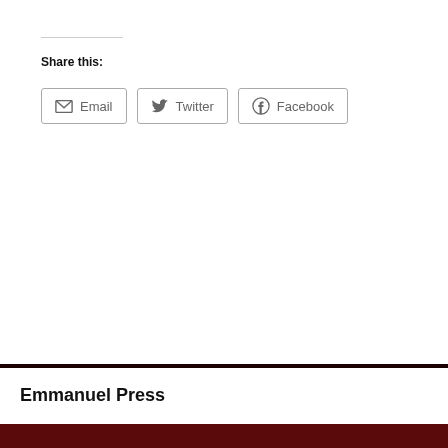Share this:
Email  Twitter  Facebook
Emmanuel Press